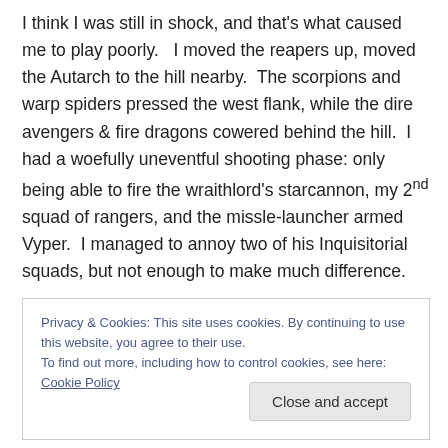I think I was still in shock, and that's what caused me to play poorly.   I moved the reapers up, moved the Autarch to the hill nearby.  The scorpions and warp spiders pressed the west flank, while the dire avengers & fire dragons cowered behind the hill.  I had a woefully uneventful shooting phase: only being able to fire the wraithlord's starcannon, my 2nd squad of rangers, and the missle-launcher armed Vyper.  I managed to annoy two of his Inquisitorial squads, but not enough to make much difference.
Privacy & Cookies: This site uses cookies. By continuing to use this website, you agree to their use.
To find out more, including how to control cookies, see here: Cookie Policy